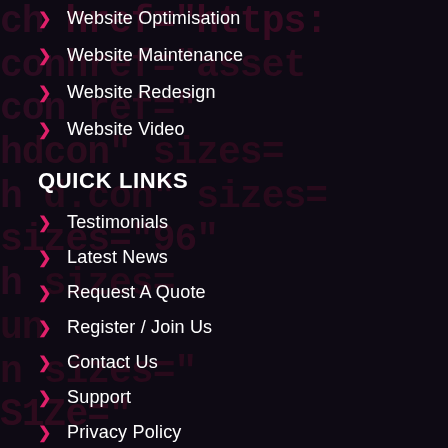Website Optimisation
Website Maintenance
Website Redesign
Website Video
QUICK LINKS
Testimonials
Latest News
Request A Quote
Register / Join Us
Contact Us
Support
Privacy Policy